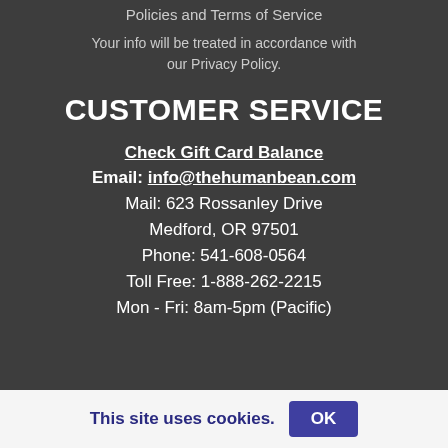Policies and Terms of Service
Your info will be treated in accordance with our Privacy Policy.
CUSTOMER SERVICE
Check Gift Card Balance
Email: info@thehumanbean.com
Mail: 623 Rossanley Drive
Medford, OR 97501
Phone: 541-608-0564
Toll Free: 1-888-262-2215
Mon - Fri: 8am-5pm (Pacific)
This site uses cookies. OK